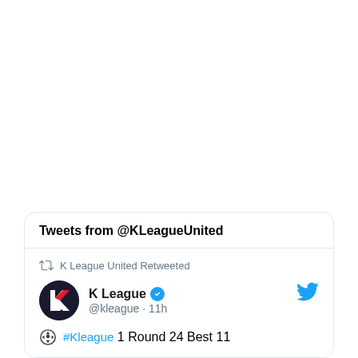Tweets from @KLeagueUnited
K League United Retweeted
K League @kleague · 11h
#Kleague 1 Round 24 Best 11